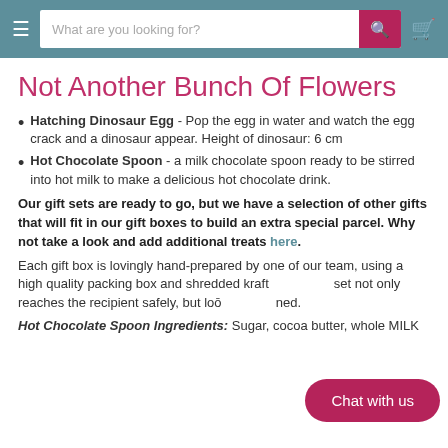What are you looking for?
Not Another Bunch Of Flowers
Hatching Dinosaur Egg - Pop the egg in water and watch the egg crack and a dinosaur appear. Height of dinosaur: 6 cm
Hot Chocolate Spoon - a milk chocolate spoon ready to be stirred into hot milk to make a delicious hot chocolate drink.
Our gift sets are ready to go, but we have a selection of other gifts that will fit in our gift boxes to build an extra special parcel. Why not take a look and add additional treats here.
Each gift box is lovingly hand-prepared by one of our team, using a high quality packing box and shredded kraft [paper] set not only reaches the recipient safely, but loo[ks stun]ned.
Chat with us
Hot Chocolate Spoon Ingredients: Sugar, cocoa butter, whole MILK